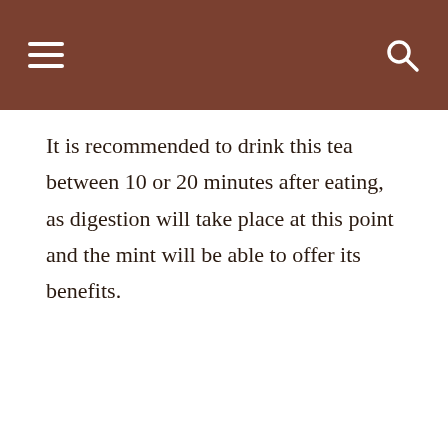It is recommended to drink this tea between 10 or 20 minutes after eating, as digestion will take place at this point and the mint will be able to offer its benefits.